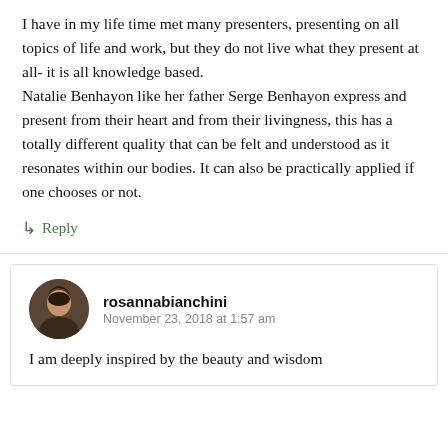I have in my life time met many presenters, presenting on all topics of life and work, but they do not live what they present at all- it is all knowledge based. Natalie Benhayon like her father Serge Benhayon express and present from their heart and from their livingness, this has a totally different quality that can be felt and understood as it resonates within our bodies. It can also be practically applied if one chooses or not.
↳ Reply
rosannabianchini
November 23, 2018 at 1:57 am
I am deeply inspired by the beauty and wisdom